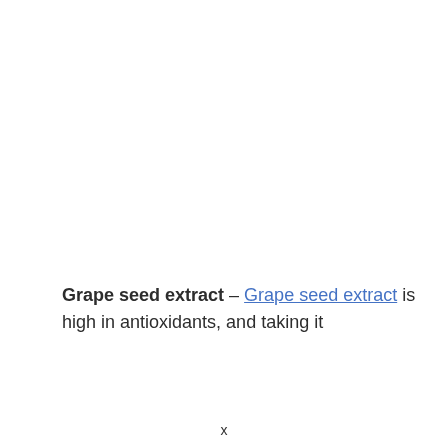Grape seed extract – Grape seed extract is high in antioxidants, and taking it